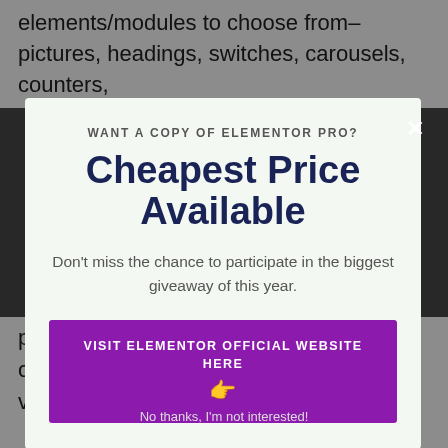elements/modules to choose from– pictures, headings, switches, carousels, counters,
WANT A COPY OF ELEMENTOR PRO?
Cheapest Price Available
Don't miss the chance to participate in the biggest giveaway of this year.
VISIT ELEMENTOR OFFICIAL WEBSITE HERE 👈
plus free and also 300-plus pro templates offered. In addition, you can save your very own layouts.
No thanks, I'm not interested!